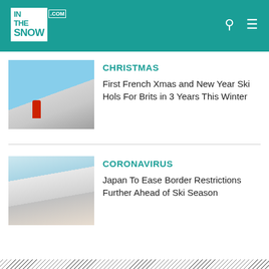INTHESNOW.COM
[Figure (photo): Santa Claus on skis on a groomed ski slope with mountains in background]
CHRISTMAS
First French Xmas and New Year Ski Hols For Brits in 3 Years This Winter
[Figure (photo): Aerial view of snowy mountain ski resort in Japan with low clouds]
CORONAVIRUS
Japan To Ease Border Restrictions Further Ahead of Ski Season